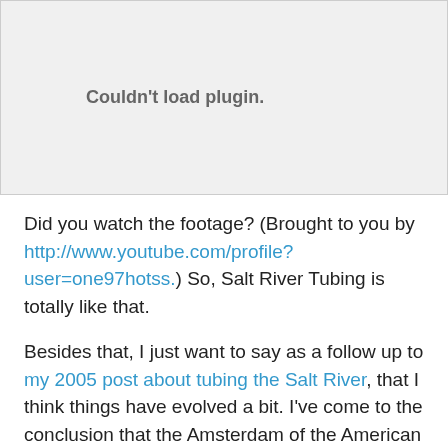[Figure (other): Embedded plugin area showing 'Couldn't load plugin.' message in gray on light gray background]
Did you watch the footage? (Brought to you by http://www.youtube.com/profile?user=one97hotss.) So, Salt River Tubing is totally like that.
Besides that, I just want to say as a follow up to my 2005 post about tubing the Salt River, that I think things have evolved a bit. I've come to the conclusion that the Amsterdam of the American Southwest constitutes of a community built by drunk and stoned hicks in inner tubes on a little river in the middle of Arizona. And much like Amsterdam, if you've never visited the Salt River, then you